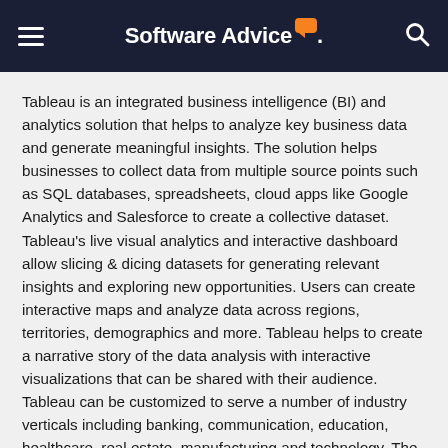Software Advice
Tableau is an integrated business intelligence (BI) and analytics solution that helps to analyze key business data and generate meaningful insights. The solution helps businesses to collect data from multiple source points such as SQL databases, spreadsheets, cloud apps like Google Analytics and Salesforce to create a collective dataset. Tableau's live visual analytics and interactive dashboard allow slicing & dicing datasets for generating relevant insights and exploring new opportunities. Users can create interactive maps and analyze data across regions, territories, demographics and more. Tableau helps to create a narrative story of the data analysis with interactive visualizations that can be shared with their audience. Tableau can be customized to serve a number of industry verticals including banking, communication, education, healthcare, real estate, manufacturing and technology. The solution can be either installed on-premises or hosted on the cloud as a SaaS application.